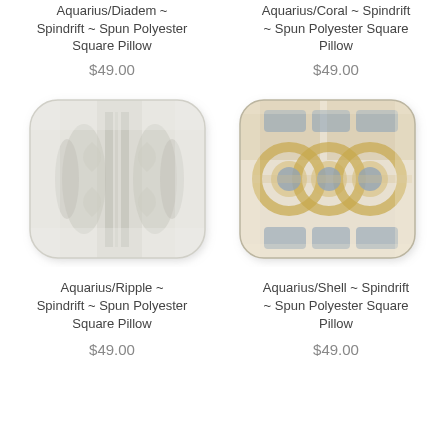Aquarius/Diadem ~ Spindrift ~ Spun Polyester Square Pillow
Aquarius/Coral ~ Spindrift ~ Spun Polyester Square Pillow
$49.00
$49.00
[Figure (photo): Aquarius/Ripple Spindrift decorative pillow - light grey/white with subtle mirrored pattern]
[Figure (photo): Aquarius/Shell Spindrift decorative pillow - cream/sand with blue medallion pattern and gold circles]
Aquarius/Ripple ~ Spindrift ~ Spun Polyester Square Pillow
Aquarius/Shell ~ Spindrift ~ Spun Polyester Square Pillow
$49.00
$49.00